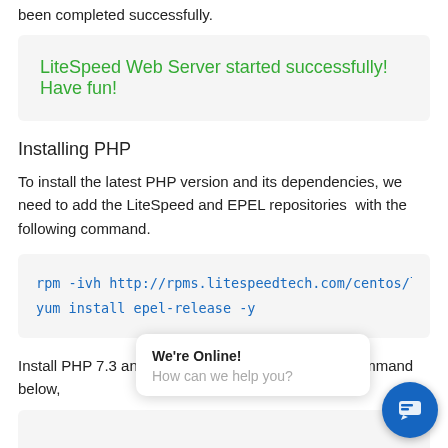been completed successfully.
LiteSpeed Web Server started successfully! Have fun!
Installing PHP
To install the latest PHP version and its dependencies, we need to add the LiteSpeed and EPEL repositories  with the following command.
rpm -ivh http://rpms.litespeedtech.com/centos/litespeed-r
yum install epel-release -y
Install PHP 7.3 and its MySQL extension with the command below,
[Figure (screenshot): Chat widget showing 'We're Online! How can we help you?' popup with blue chat button icon]